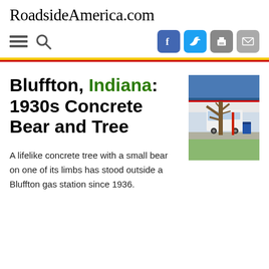RoadsideAmerica.com
Bluffton, Indiana: 1930s Concrete Bear and Tree
[Figure (photo): Photograph of a gas station in Bluffton, Indiana showing a concrete tree sculpture outside. A white van is parked nearby and trees are visible in the background.]
A lifelike concrete tree with a small bear on one of its limbs has stood outside a Bluffton gas station since 1936.